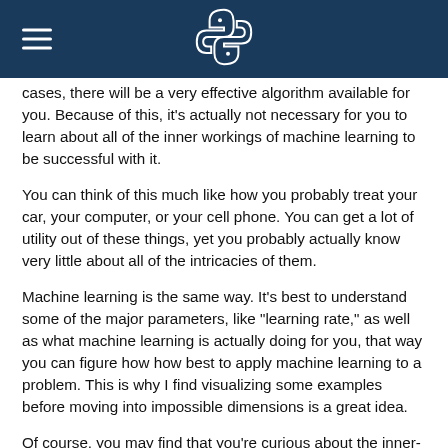Python (logo and hamburger menu)
cases, there will be a very effective algorithm available for you. Because of this, it's actually not necessary for you to learn about all of the inner workings of machine learning to be successful with it.
You can think of this much like how you probably treat your car, your computer, or your cell phone. You can get a lot of utility out of these things, yet you probably actually know very little about all of the intricacies of them.
Machine learning is the same way. It's best to understand some of the major parameters, like "learning rate," as well as what machine learning is actually doing for you, that way you can figure how how best to apply machine learning to a problem. This is why I find visualizing some examples before moving into impossible dimensions is a great idea.
Of course, you may find that you're curious about the inner-workings, and I would encourage you to feed your curiosity. The algorithms are truly fascinating, and it will certainly improve